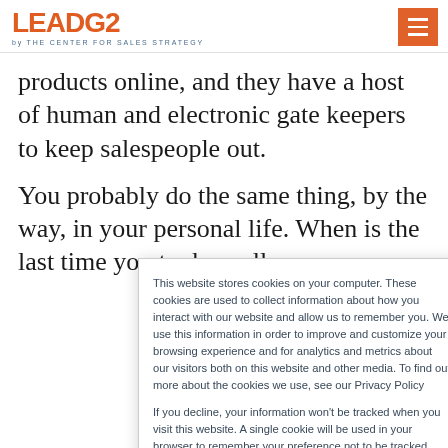[Figure (logo): LeadG2 logo with tagline 'by THE CENTER FOR SALES STRATEGY' in orange and dark blue]
products online, and they have a host of human and electronic gate keepers to keep salespeople out.
You probably do the same thing, by the way, in your personal life. When is the last time you took a call or
This website stores cookies on your computer. These cookies are used to collect information about how you interact with our website and allow us to remember you. We use this information in order to improve and customize your browsing experience and for analytics and metrics about our visitors both on this website and other media. To find out more about the cookies we use, see our Privacy Policy

If you decline, your information won't be tracked when you visit this website. A single cookie will be used in your browser to remember your preference not to be tracked.